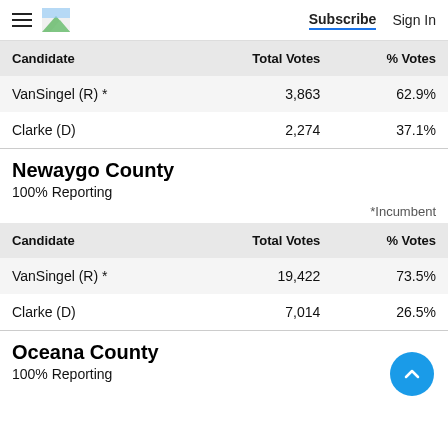Subscribe  Sign In
| Candidate | Total Votes | % Votes |
| --- | --- | --- |
| VanSingel (R) * | 3,863 | 62.9% |
| Clarke (D) | 2,274 | 37.1% |
Newaygo County
100% Reporting
*Incumbent
| Candidate | Total Votes | % Votes |
| --- | --- | --- |
| VanSingel (R) * | 19,422 | 73.5% |
| Clarke (D) | 7,014 | 26.5% |
Oceana County
100% Reporting